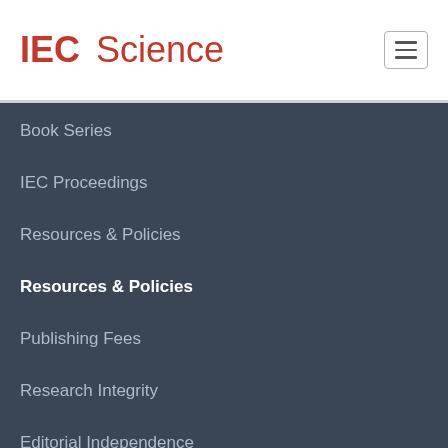IEC Science
Book Series
IEC Proceedings
Resources & Policies
Resources & Policies
Publishing Fees
Research Integrity
Editorial Independence
Hosting Policy
Resources & Policies
Peer Review Policy